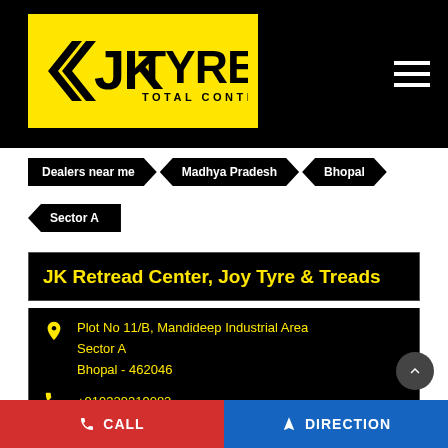[Figure (logo): JK Tyre Total Control logo in yellow and black]
Dealers near me > Madhya Pradesh > Bhopal
Sector A
JK Retread Center, Joy Tyre & Treads
Plot No 11/B, Mandideep Industrial Area
Sector A
Bhopal - 462046
+919329219082
Open until 08:00 PM    OPEN NOW